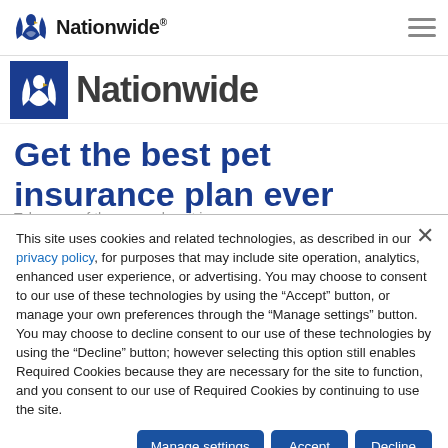[Figure (logo): Nationwide logo with eagle icon and wordmark in top navigation bar]
[Figure (logo): Nationwide logo (partially cropped second instance with blue background square and eagle)]
Get the best pet insurance plan ever made.
Take care of the ones who sit in your (partial, cropped)
This site uses cookies and related technologies, as described in our privacy policy, for purposes that may include site operation, analytics, enhanced user experience, or advertising. You may choose to consent to our use of these technologies by using the “Accept” button, or manage your own preferences through the “Manage settings” button. You may choose to decline consent to our use of these technologies by using the “Decline” button; however selecting this option still enables Required Cookies because they are necessary for the site to function, and you consent to our use of Required Cookies by continuing to use the site.